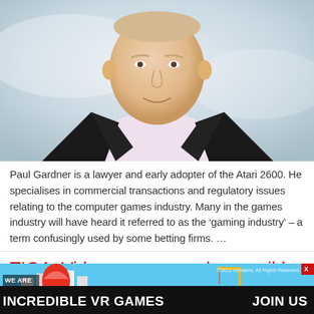[Figure (photo): Headshot photo of Paul Gardner, a man in a dark jacket and light pink shirt, smiling, against a light blurred background]
Paul Gardner is a lawyer and early adopter of the Atari 2600. He specialises in commercial transactions and regulatory issues relating to the computer games industry. Many in the games industry will have heard it referred to as the ‘gaming industry’ – a term confusingly used by some betting firms. …
TIGA: Video games need a sensible Brexit
[Figure (infographic): Advertisement banner: WE ARE INCREDIBLE VR GAMES - JOIN US, with colorful game scene background]